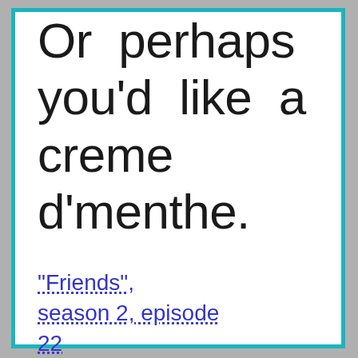Or perhaps you'd like a creme d'menthe.
"Friends", season 2, episode 22